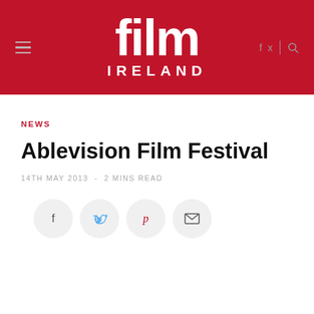film IRELAND
NEWS
Ablevision Film Festival
14TH MAY 2013  -  2 MINS READ
[Figure (infographic): Social sharing buttons: Facebook, Twitter, Pinterest, Email]